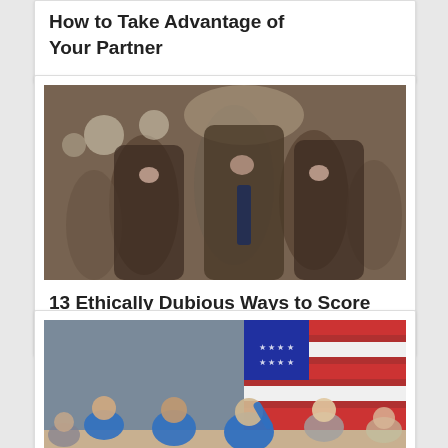How to Take Advantage of Your Partner
[Figure (photo): Crowd of people at what appears to be a wedding or celebration, cheering and celebrating, movie still]
13 Ethically Dubious Ways to Score Free Stuff
[Figure (photo): Group of young people sitting on a gymnasium floor in front of an American flag, appearing to be students]
7 Reasons You Should Always Be Learning
[Figure (photo): Dark background image with a white top hat silhouette and red figure below]